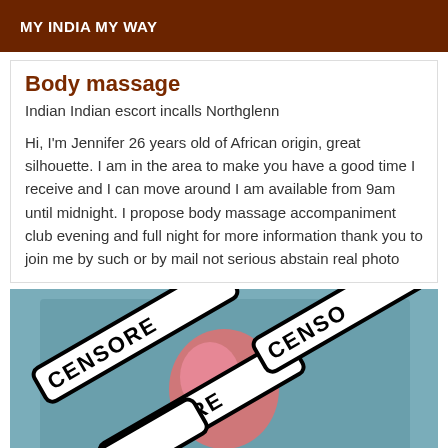MY INDIA MY WAY
Body massage
Indian Indian escort incalls Northglenn
Hi, I'm Jennifer 26 years old of African origin, great silhouette. I am in the area to make you have a good time I receive and I can move around I am available from 9am until midnight. I propose body massage accompaniment club evening and full night for more information thank you to join me by such or by mail not serious abstain real photo
[Figure (photo): Censored image with overlapping black and white censorship bar stickers on a teal background, with a heart/circular pink shape visible underneath]